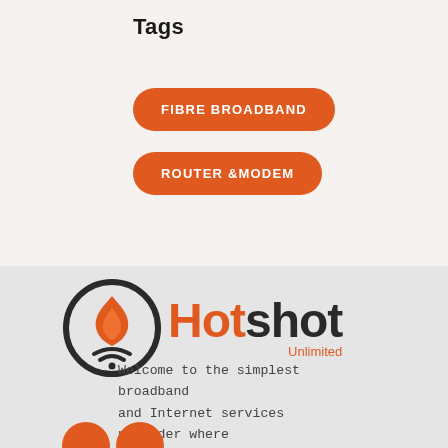Tags
FIBRE BROADBAND
ROUTER &MODEM
[Figure (logo): Hotshot Unlimited logo: flame with wifi symbol inside a dark circle, orange 'Hot' and dark 'shot' text with orange 'Unlimited' subtitle]
Welcome to the simplest broadband and Internet services provider where you can choose the best plan ever.